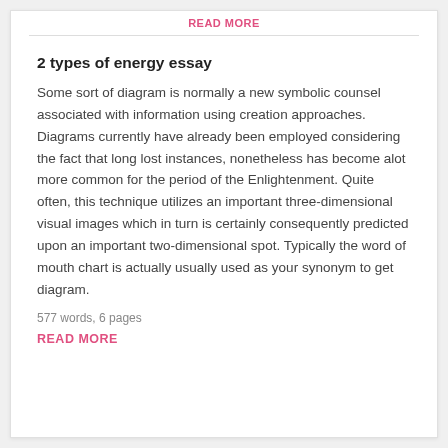READ MORE
2 types of energy essay
Some sort of diagram is normally a new symbolic counsel associated with information using creation approaches. Diagrams currently have already been employed considering the fact that long lost instances, nonetheless has become alot more common for the period of the Enlightenment. Quite often, this technique utilizes an important three-dimensional visual images which in turn is certainly consequently predicted upon an important two-dimensional spot. Typically the word of mouth chart is actually usually used as your synonym to get diagram.
577 words, 6 pages
READ MORE